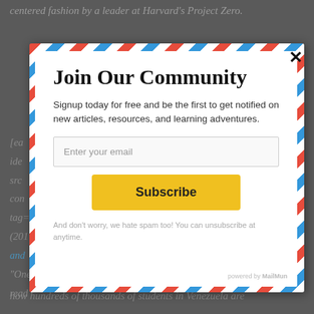centered fashion by a leader at Harvard's Project Zero.
[Figure (screenshot): Email subscription modal overlay with airmail envelope border design. Contains title 'Join Our Community', subtitle about signing up for free, email input field, Subscribe button, and spam disclaimer. Overlaid on dimmed background page content.]
[ea... ide... src... con... tag... (201... and ...
"One... read ... (gen) tells the story of how hundreds of thousands of students in Venezuela are